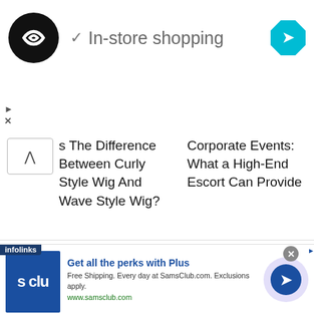[Figure (screenshot): Ad banner with black circular logo with infinity-like symbol, checkmark icon, text 'In-store shopping', and blue diamond navigation icon on right]
s The Difference Between Curly Style Wig And Wave Style Wig?
Corporate Events: What a High-End Escort Can Provide
RELATED ARTICLES   MORE FROM AUTHOR
[Figure (photo): Woman touching face with jewelry, with 'Clothes & Accessories' caption overlay]
The Best Jewellery Trends to Try in 2022
[Figure (screenshot): Sam's Club advertisement: 'Get all the perks with Plus' with logo, description text, www.samsclub.com URL, and blue arrow CTA button]